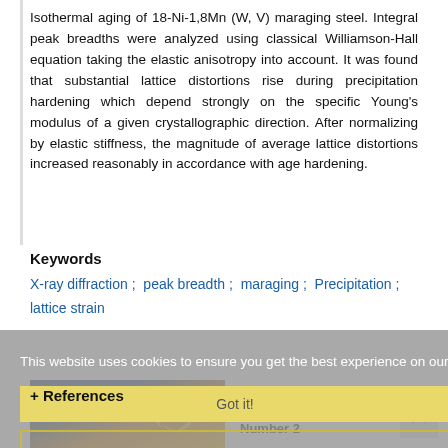Isothermal aging of 18-Ni-1,8Mn (W, V) maraging steel. Integral peak breadths were analyzed using classical Williamson-Hall equation taking the elastic anisotropy into account. It was found that substantial lattice distortions rise during precipitation hardening which depend strongly on the specific Young's modulus of a given crystallographic direction. After normalizing by elastic stiffness, the magnitude of average lattice distortions increased reasonably in accordance with age hardening.
Keywords
X-ray diffraction ;  peak breadth ;  maraging ;  Precipitation ;  lattice strain
[Figure (screenshot): Cookie consent overlay on website with 'Got it!' button]
+ References
[Figure (photo): Journal cover image with dark blue and gold tones]
Volume 7, Issue 2 - Serial Number 2